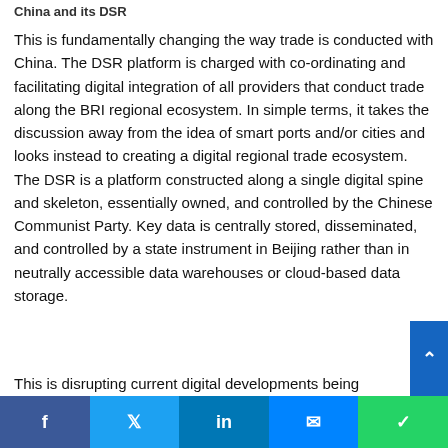China and its DSR
This is fundamentally changing the way trade is conducted with China. The DSR platform is charged with co-ordinating and facilitating digital integration of all providers that conduct trade along the BRI regional ecosystem. In simple terms, it takes the discussion away from the idea of smart ports and/or cities and looks instead to creating a digital regional trade ecosystem. The DSR is a platform constructed along a single digital spine and skeleton, essentially owned, and controlled by the Chinese Communist Party. Key data is centrally stored, disseminated, and controlled by a state instrument in Beijing rather than in neutrally accessible data warehouses or cloud-based data storage.
This is disrupting current digital developments being